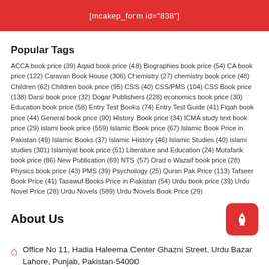[mcakep_form id="838"]
Popular Tags
ACCA book price (39) Aqaid book price (48) Biographies book price (54) CA book price (122) Caravan Book House (306) Chemistry (27) chemistry book price (48) Children (62) Children book price (95) CSS (40) CSS/PMS (104) CSS Book price (138) Darsi book price (32) Dogar Publishers (228) economics book price (30) Education book price (58) Entry Test Books (74) Entry Test Guide (41) Fiqah book price (44) General book price (90) History Book price (34) ICMA study text book price (29) islami book price (559) Islamic Book price (67) Islamic Book Price in Pakistan (49) Islamic Books (37) Islamic History (46) Islamic Studies (40) islami studies (301) Islamiyat book price (51) Literature and Education (24) Mutafarik book price (86) New Publication (69) NTS (57) Orad o Wazaif book price (28) Physics book price (43) PMS (39) Psychology (25) Quran Pak Price (113) Tafseer Book Price (41) Tasawuf Books Price in Pakistan (54) Urdu book price (39) Urdu Novel Price (28) Urdu Novels (589) Urdu Novels Book Price (29)
About Us
Office No 11, Hadia Haleema Center Ghazni Street, Urdu Bazar Lahore, Punjab, Pakistan-54000
Info@Ketab.Pk